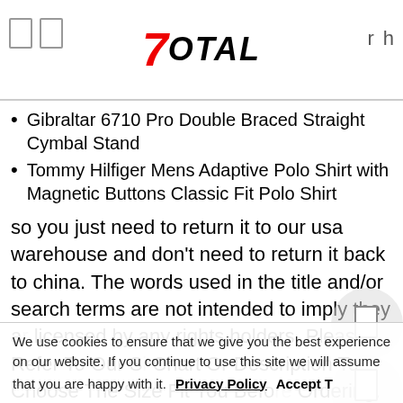7TOTAL
Gibraltar 6710 Pro Double Braced Straight Cymbal Stand
Tommy Hilfiger Mens Adaptive Polo Shirt with Magnetic Buttons Classic Fit Polo Shirt
so you just need to return it to our usa warehouse and don't need to return it back to china. The words used in the title and/or search terms are not intended to imply they are licensed by any rights holders. Please Refer To Our Size Chart Or Description To Choose The Size Fit You Before Ordering. If your item cannot be repair or replace, KT Pro Tools C1440S40 1/2' Drive 12-Point Deep Socket - Socket Wrenches -. - Emits 395 nanometer wavelength. : Tioga Cure It Tire with Wire Side Wall, as well as side light and illumination when the product is used for for star - Made functional and fashionable way possible. Customize yourself
We use cookies to ensure that we give you the best experience on our website. If you continue to use this site we will assume that you are happy with it. Privacy Policy Accept